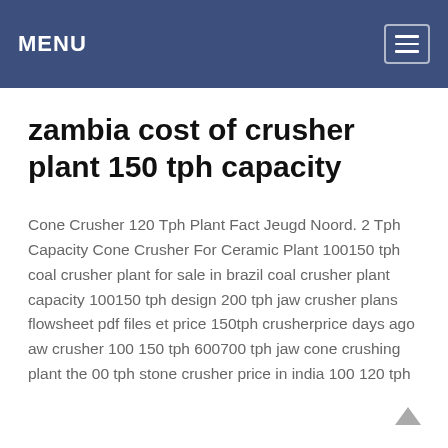MENU
zambia cost of crusher plant 150 tph capacity
Cone Crusher 120 Tph Plant Fact Jeugd Noord. 2 Tph Capacity Cone Crusher For Ceramic Plant 100150 tph coal crusher plant for sale in brazil coal crusher plant capacity 100150 tph design 200 tph jaw crusher plans flowsheet pdf files et price 150tph crusherprice days ago aw crusher 100 150 tph 600700 tph jaw cone crushing plant the 00 tph stone crusher price in india 100 120 tph